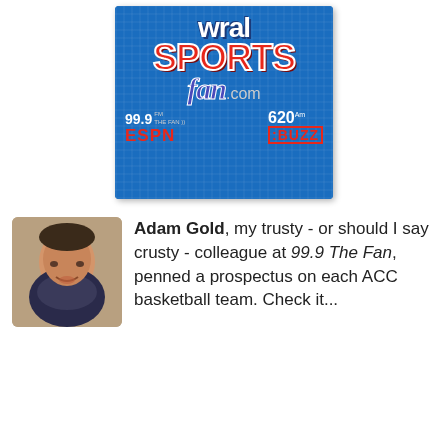[Figure (logo): WRAL Sports Fan .com logo on blue textured background with 99.9 FM ESPN The Fan and 620 AM The Buzz radio station logos]
[Figure (photo): Headshot photo of Adam Gold, a middle-aged man smiling]
Adam Gold, my trusty - or should I say crusty - colleague at 99.9 The Fan, penned a prospectus on each ACC basketball team. Check it...